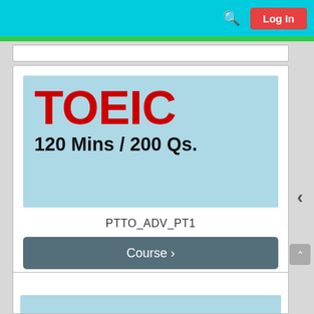Log In
[Figure (screenshot): TOEIC test banner with light blue background showing 'TOEIC' in large red bold text and '120 Mins / 200 Qs.' in large black bold text]
PTTO_ADV_PT1
Course >